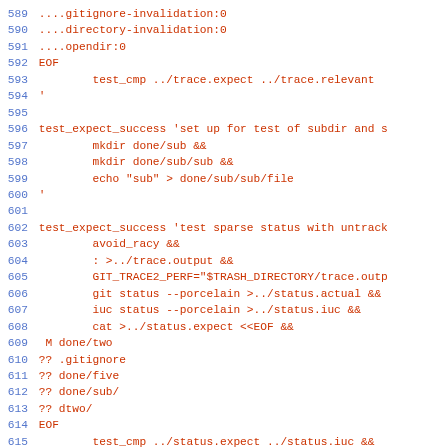589 ....gitignore-invalidation:0
590 ....directory-invalidation:0
591 ....opendir:0
592 EOF
593         test_cmp ../trace.expect ../trace.relevant
594 '
595
596 test_expect_success 'set up for test of subdir and s
597         mkdir done/sub &&
598         mkdir done/sub/sub &&
599         echo "sub" > done/sub/sub/file
600 '
601
602 test_expect_success 'test sparse status with untrack
603         avoid_racy &&
604         : >../trace.output &&
605         GIT_TRACE2_PERF="$TRASH_DIRECTORY/trace.outp
606         git status --porcelain >../status.actual &&
607         iuc status --porcelain >../status.iuc &&
608         cat >../status.expect <<EOF &&
609  M done/two
610 ?? .gitignore
611 ?? done/five
612 ?? done/sub/
613 ?? dtwo/
614 EOF
615         test_cmp ../status.expect ../status.iuc &&
616         test_cmp ../status.expect ../status.actual &
617         get_relevant_traces ../trace.output ../trace
618         cat >../trace.expect <<EOF &&